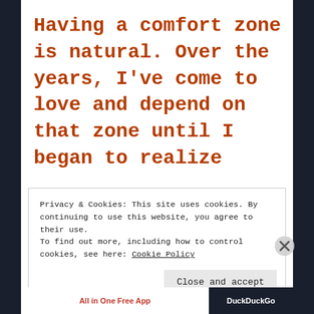Having a comfort zone is natural. Over the years, I've come to love and depend on that zone until I began to realize
Privacy & Cookies: This site uses cookies. By continuing to use this website, you agree to their use.
To find out more, including how to control cookies, see here: Cookie Policy
[Close and accept]